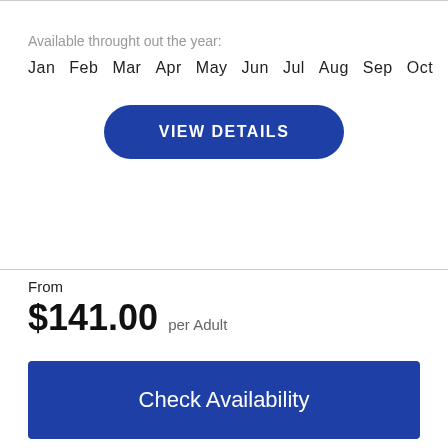Available throught out the year:
Jan  Feb  Mar  Apr  May  Jun  Jul  Aug  Sep  Oct  Nov  Dec
VIEW DETAILS
From
$141.00 per Adult
Check Availability
Need help with booking? Send Us A Message